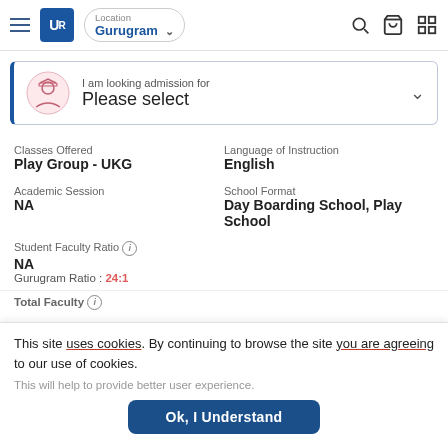[Figure (screenshot): Navigation bar with hamburger menu, UR logo, location selector showing Gurugram, search icon, cart icon, and grid icon]
[Figure (screenshot): Admission selector dropdown showing 'I am looking admission for Please select']
Classes Offered
Play Group - UKG
Language of Instruction
English
Academic Session
NA
School Format
Day Boarding School, Play School
Student Faculty Ratio
NA
Gurugram Ratio : 24:1
Total Faculty
This site uses cookies. By continuing to browse the site you are agreeing to our use of cookies.
This will help to provide better user experience.